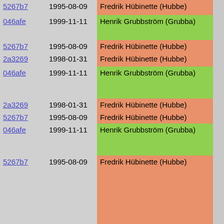| hash | date | author | code |
| --- | --- | --- | --- |
| 5267b7 | 1995-08-09 | Fredrik Hübinette (Hubbe) |  |
| 046afe | 1999-11-11 | Henrik Grubbström (Grubba) | low_pri |
| 5267b7 | 1995-08-09 | Fredrik Hübinette (Hubbe) | return; |
| 2a3269 | 1998-01-31 | Fredrik Hübinette (Hubbe) | case F_A |
| 046afe | 1999-11-11 | Henrik Grubbström (Grubba) | fputc
low_p
fputc |
| 2a3269 | 1998-01-31 | Fredrik Hübinette (Hubbe) | break, |
| 5267b7 | 1995-08-09 | Fredrik Hübinette (Hubbe) | case F_LVA |
| 046afe | 1999-11-11 | Henrik Grubbström (Grubba) | low_pri
if(_CAR
low_pri |
| 5267b7 | 1995-08-09 | Fredrik Hübinette (Hubbe) | return;

case F_CO
{
  char *s,
  init_bu
  describe
  s=simple |
| 046afe | 1999-11-11 | Henrik Grubbström (Grubba) | fprintf |
| 5267b7 | 1995-08-09 | Fredrik Hübinette (Hubbe) | free(s) |